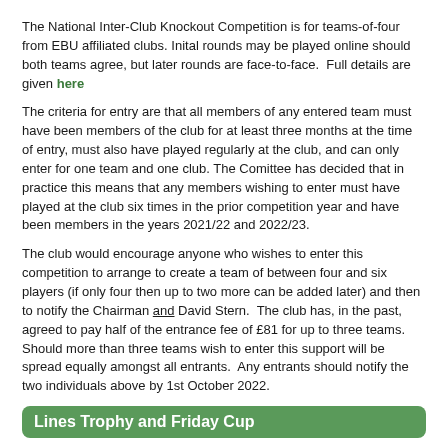The National Inter-Club Knockout Competition is for teams-of-four from EBU affiliated clubs. Inital rounds may be played online should both teams agree, but later rounds are face-to-face.  Full details are given here
The criteria for entry are that all members of any entered team must have been members of the club for at least three months at the time of entry, must also have played regularly at the club, and can only enter for one team and one club. The Comittee has decided that in practice this means that any members wishing to enter must have played at the club six times in the prior competition year and have been members in the years 2021/22 and 2022/23.
The club would encourage anyone who wishes to enter this competition to arrange to create a team of between four and six players (if only four then up to two more can be added later) and then to notify the Chairman and David Stern.  The club has, in the past, agreed to pay half of the entrance fee of £81 for up to three teams. Should more than three teams wish to enter this support will be spread equally amongst all entrants.  Any entrants should notify the two individuals above by 1st October 2022.
Lines Trophy and Friday Cup
The last two competitions in the Club's year have now been completed.
Congratulations to Marian Hunt who won the Friday Cup, finishing clear of Christine Kempton.